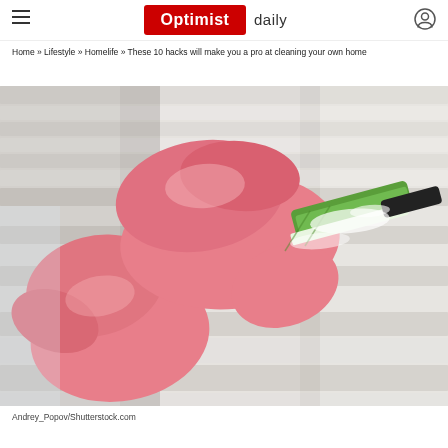Optimist daily
Home » Lifestyle » Homelife » These 10 hacks will make you a pro at cleaning your own home
[Figure (photo): Hands wearing pink rubber gloves cleaning white window blinds with a green cleaning tool/brush. The blinds are dusty and the person is wiping them clean.]
Andrey_Popov/Shutterstock.com